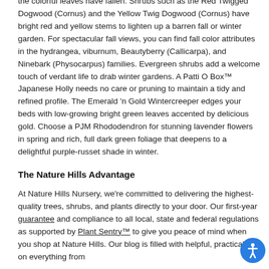the colorful leaves have fallen. Shrubs such as the Red Twigged Dogwood (Cornus) and the Yellow Twig Dogwood (Cornus) have bright red and yellow stems to lighten up a barren fall or winter garden. For spectacular fall views, you can find fall color attributes in the hydrangea, viburnum, Beautyberry (Callicarpa), and Ninebark (Physocarpus) families. Evergreen shrubs add a welcome touch of verdant life to drab winter gardens. A Patti O Box™ Japanese Holly needs no care or pruning to maintain a tidy and refined profile. The Emerald 'n Gold Wintercreeper edges your beds with low-growing bright green leaves accented by delicious gold. Choose a PJM Rhododendron for stunning lavender flowers in spring and rich, full dark green foliage that deepens to a delightful purple-russet shade in winter.
The Nature Hills Advantage
At Nature Hills Nursery, we're committed to delivering the highest-quality trees, shrubs, and plants directly to your door. Our first-year guarantee and compliance to all local, state and federal regulations as supported by Plant Sentry™ to give you peace of mind when you shop at Nature Hills. Our blog is filled with helpful, practical tips on everything from